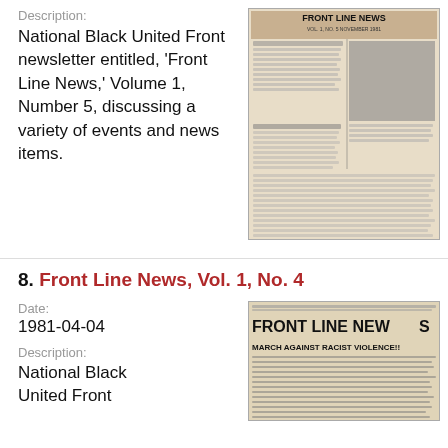Description:
National Black United Front newsletter entitled, 'Front Line News,' Volume 1, Number 5, discussing a variety of events and news items.
[Figure (photo): Thumbnail image of Front Line News newsletter front page, Vol. 1 No. 5, showing masthead and article text with a photograph]
8. Front Line News, Vol. 1, No. 4
Date:
1981-04-04
Description:
National Black United Front
[Figure (photo): Thumbnail image of Front Line News Vol. 1 No. 4 newsletter with headline: MARCH AGAINST RACIST VIOLENCE!! and subheadlines]